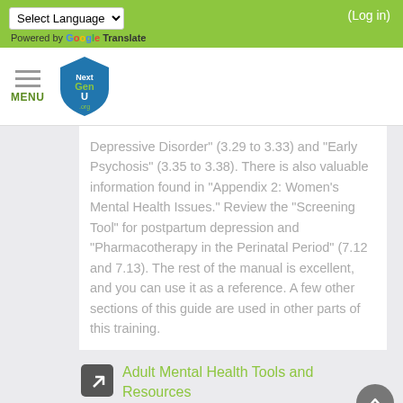Select Language | (Log in) | Powered by Google Translate
[Figure (logo): NextGenU.org shield logo with hamburger menu and MENU label]
Depressive Disorder" (3.29 to 3.33) and "Early Psychosis" (3.35 to 3.38). There is also valuable information found in "Appendix 2: Women's Mental Health Issues." Review the "Screening Tool" for postpartum depression and "Pharmacotherapy in the Perinatal Period" (7.12 and 7.13). The rest of the manual is excellent, and you can use it as a reference. A few other sections of this guide are used in other parts of this training.
Adult Mental Health Tools and Resources